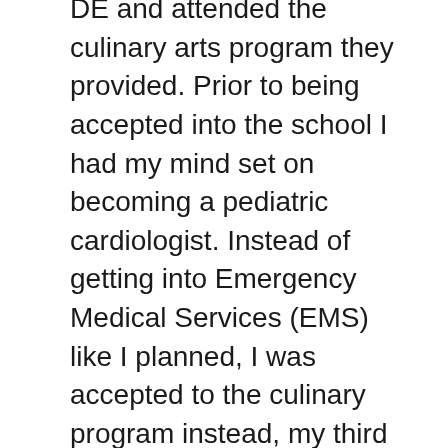DE and attended the culinary arts program they provided. Prior to being accepted into the school I had my mind set on becoming a pediatric cardiologist. Instead of getting into Emergency Medical Services (EMS) like I planned, I was accepted to the culinary program instead, my third choice. Extremely disappointed and upset, I dealt with the class even though I had no desire to be there; my chefs could even see how upset I was.
Even though I did not want to be there, I started to like the class. Everyone would ask me questions on how to do stuff and look at my plate to compare it to how they garnished or arranged the food on their plate.
Sophomore year came, and I became interested in getting into forensic science and working for The Central Intelligence Agency (CIA). I had always had a mind for solving problems, and I figured what better way to put it to good use than figuring out crimes?
Jumping to junior year, I continued to have my mind set on becoming a forensic scientist—still oblivious of my real passion even though it was always right in front of me.